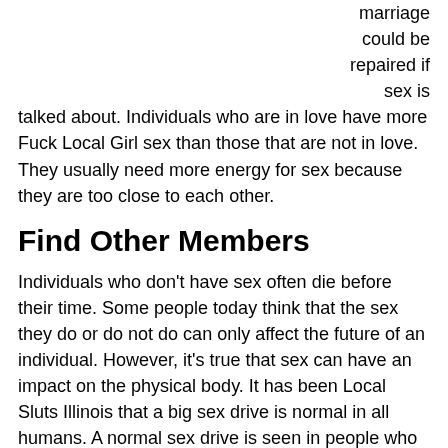marriage could be repaired if sex is talked about. Individuals who are in love have more Fuck Local Girl sex than those that are not in love. They usually need more energy for sex because they are too close to each other.
Find Other Members
Individuals who don't have sex often die before their time. Some people today think that the sex they do or do not do can only affect the future of an individual. However, it's true that sex can have an impact on the physical body. It has been Local Sluts Illinois that a big sex drive is normal in all humans. A normal sex drive is seen in people who are too young and in people who are too old.